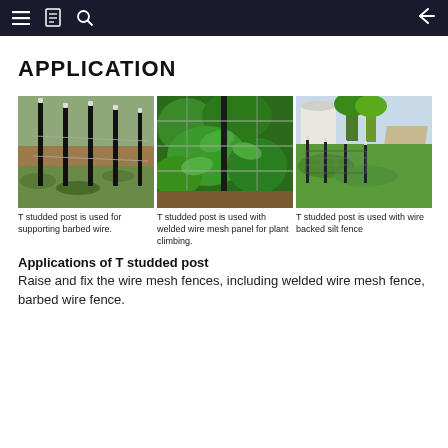APPLICATION
APPLICATION
[Figure (photo): T-posts installed in a grassy/dirt field supporting barbed wire fencing]
T studded post is used for supporting barbed wire.
[Figure (photo): T-post with welded wire mesh panel supporting climbing plants (green foliage)]
T studded post is used with welded wire mesh panel for plant climbing.
[Figure (photo): T-posts with wire backed silt fence along a roadside with green grass and trees]
T studded post is used with wire backed silt fence
Applications of T studded post
Raise and fix the wire mesh fences, including welded wire mesh fence, barbed wire fence.